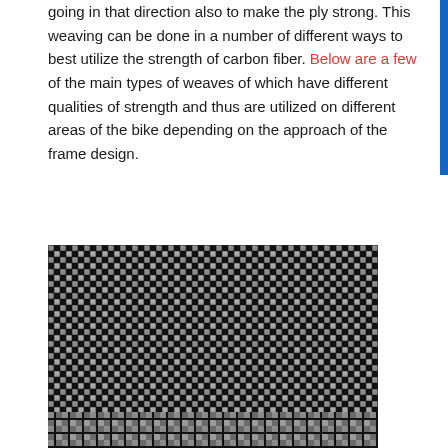direction of the strand, and then. Thus you need a strand going in that direction also to make the ply strong. This weaving can be done in a number of different ways to best utilize the strength of carbon fiber. Below are a few of the main types of weaves of which have different qualities of strength and thus are utilized on different areas of the bike depending on the approach of the frame design.
[Figure (photo): Close-up photograph of a 1x1 plain weave carbon fiber pattern showing alternating black and silver/grey interlocked fiber bundles in a checkerboard-like arrangement.]
1×1 Plain Pattern
[Figure (photo): Partial view of another carbon fiber weave pattern at the bottom of the page, partially cropped.]